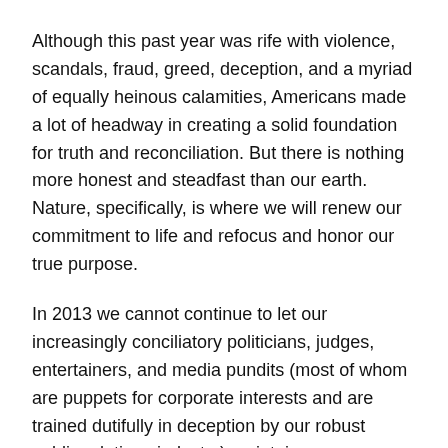Although this past year was rife with violence, scandals, fraud, greed, deception, and a myriad of equally heinous calamities, Americans made a lot of headway in creating a solid foundation for truth and reconciliation. But there is nothing more honest and steadfast than our earth. Nature, specifically, is where we will renew our commitment to life and refocus and honor our true purpose.
In 2013 we cannot continue to let our increasingly conciliatory politicians, judges, entertainers, and media pundits (most of whom are puppets for corporate interests and are trained dutifully in deception by our robust public relations industry) maintain a stranglehold on discourse surrounding climate change, toxic pollution, energy, and most importantly, our food and water.
For...